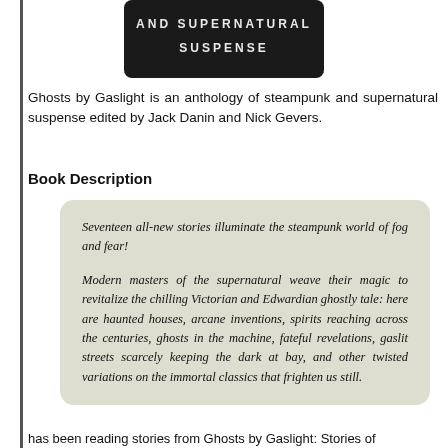[Figure (illustration): Book cover image showing 'AND SUPERNATURAL SUSPENSE' text on dark background]
Ghosts by Gaslight is an anthology of steampunk and supernatural suspense edited by Jack Danin and Nick Gevers.
Book Description
Seventeen all-new stories illuminate the steampunk world of fog and fear!

Modern masters of the supernatural weave their magic to revitalize the chilling Victorian and Edwardian ghostly tale: here are haunted houses, arcane inventions, spirits reaching across the centuries, ghosts in the machine, fateful revelations, gaslit streets scarcely keeping the dark at bay, and other twisted variations on the immortal classics that frighten us still.
has been reading stories from Ghosts by Gaslight: Stories of